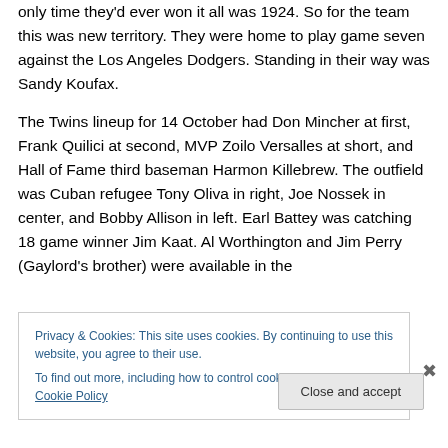only time they'd ever won it all was 1924. So for the team this was new territory. They were home to play game seven against the Los Angeles Dodgers. Standing in their way was Sandy Koufax.
The Twins lineup for 14 October had Don Mincher at first, Frank Quilici at second, MVP Zoilo Versalles at short, and Hall of Fame third baseman Harmon Killebrew. The outfield was Cuban refugee Tony Oliva in right, Joe Nossek in center, and Bobby Allison in left. Earl Battey was catching 18 game winner Jim Kaat. Al Worthington and Jim Perry (Gaylord's brother) were available in the
Privacy & Cookies: This site uses cookies. By continuing to use this website, you agree to their use.
To find out more, including how to control cookies, see here: Cookie Policy